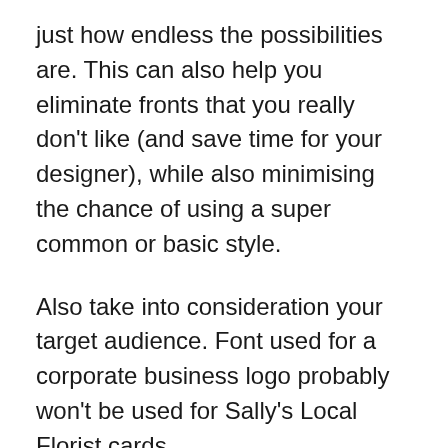just how endless the possibilities are. This can also help you eliminate fronts that you really don't like (and save time for your designer), while also minimising the chance of using a super common or basic style.
Also take into consideration your target audience. Font used for a corporate business logo probably won't be used for Sally's Local Florist cards.
Here is an example of how a